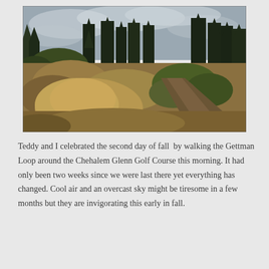[Figure (photo): Outdoor trail through dry golden grassland with tall evergreen trees in background under overcast sky. A dirt path curves to the right through the field.]
Teddy and I celebrated the second day of fall  by walking the Gettman Loop around the Chehalem Glenn Golf Course this morning. It had only been two weeks since we were last there yet everything has changed. Cool air and an overcast sky might be tiresome in a few months but they are invigorating this early in fall.